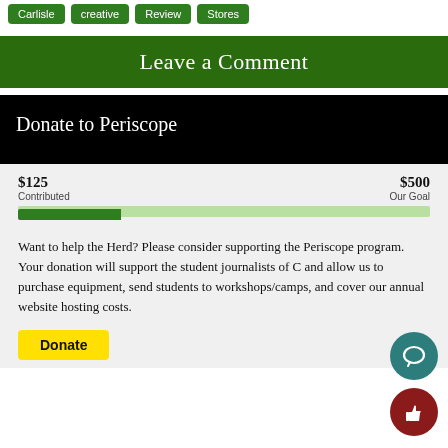Carlisle
creative
Review
Stores
Leave a Comment
Donate to Periscope
$125 Contributed    $500 Our Goal
Want to help the Herd? Please consider supporting the Periscope program. Your donation will support the student journalists of C and allow us to purchase equipment, send students to workshops/camps, and cover our annual website hosting costs.
Donate